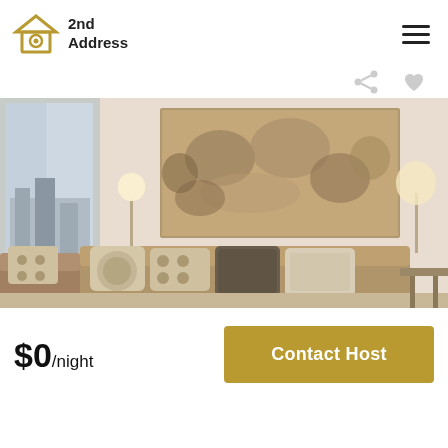[Figure (logo): 2nd Address logo: house icon with circular element inside, gold/olive color, text '2nd Address' to the right in bold black]
[Figure (photo): Interior living room photo: beige sofa with decorative pillows, large abstract painting on wall, floor lamps, city view window on left]
$0/night
Contact Host